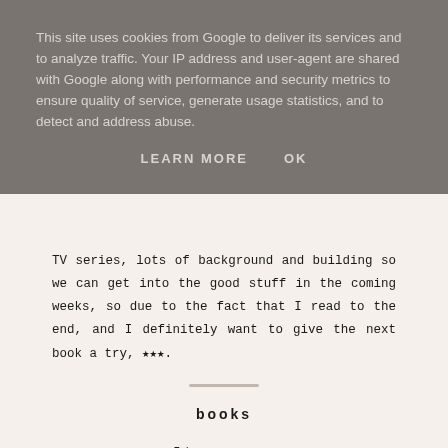This site uses cookies from Google to deliver its services and to analyze traffic. Your IP address and user-agent are shared with Google along with performance and security metrics to ensure quality of service, generate usage statistics, and to detect and address abuse.
LEARN MORE   OK
TV series, lots of background and building so we can get into the good stuff in the coming weeks, so due to the fact that I read to the end, and I definitely want to give the next book a try, ★★★.
books
🐦 f 📌
a little more...